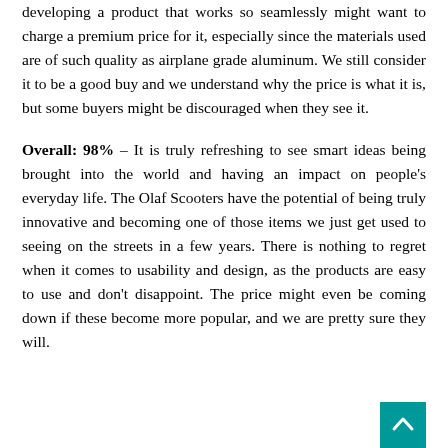developing a product that works so seamlessly might want to charge a premium price for it, especially since the materials used are of such quality as airplane grade aluminum. We still consider it to be a good buy and we understand why the price is what it is, but some buyers might be discouraged when they see it.

Overall: 98% – It is truly refreshing to see smart ideas being brought into the world and having an impact on people's everyday life. The Olaf Scooters have the potential of being truly innovative and becoming one of those items we just get used to seeing on the streets in a few years. There is nothing to regret when it comes to usability and design, as the products are easy to use and don't disappoint. The price might even be coming down if these become more popular, and we are pretty sure they will.